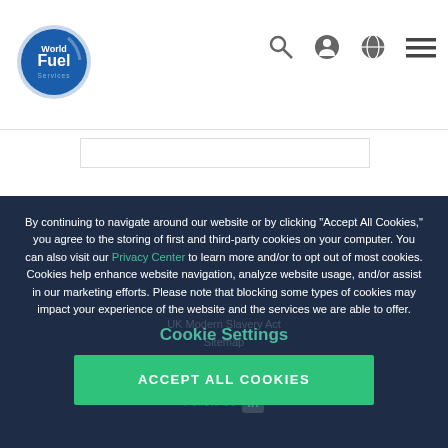World Fuel Services — website header with logo and navigation icons
By continuing to navigate around our website or by clicking "Accept All Cookies," you agree to the storing of first and third-party cookies on your computer. You can also visit our Privacy Center to learn more and/or to opt out of most cookies. Cookies help enhance website navigation, analyze website usage, and/or assist in our marketing efforts. Please note that blocking some types of cookies may impact your experience of the website and the services we are able to offer.
Cookie Settings
ACCEPT ALL COOKIES
UK Modern Slavery Act
Sitemap
Follow Us